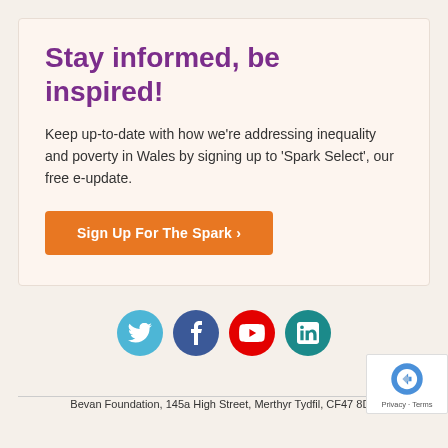Stay informed, be inspired!
Keep up-to-date with how we're addressing inequality and poverty in Wales by signing up to 'Spark Select', our free e-update.
Sign Up For The Spark >
[Figure (other): Row of four social media icons: Twitter (blue), Facebook (dark blue), YouTube (red), LinkedIn (teal)]
Bevan Foundation, 145a High Street, Merthyr Tydfil, CF47 8DP